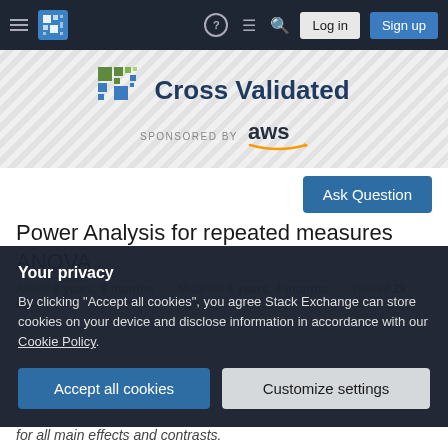Cross Validated — Stack Exchange — SPONSORED BY aws
[Figure (logo): Cross Validated logo with tiled square icon and site name, sponsored by AWS]
Ask Question
Power Analysis for repeated measures ANOVA
Asked 8 years, 9 months ago   Modified 6 years, 4 months ago   Viewed 2k times
Your privacy
By clicking "Accept all cookies", you agree Stack Exchange can store cookies on your device and disclose information in accordance with our Cookie Policy.
Accept all cookies   Customize settings
for all main effects and contrasts.